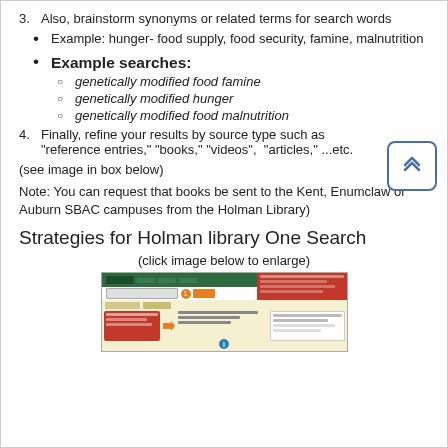3. Also, brainstorm synonyms or related terms for search words
Example: hunger- food supply, food security, famine, malnutrition
Example searches:
genetically modified food famine
genetically modified hunger
genetically modified food malnutrition
4. Finally, refine your results by source type such as "reference entries," "books," "videos",  "articles," ...etc.
(see image in box below)
Note: You can request that books be sent to the Kent, Enumclaw or Auburn SBAC campuses from the Holman Library)
Strategies for Holman library One Search
(click image below to enlarge)
[Figure (screenshot): Screenshot of Holman Library One Search interface showing search bar, navigation, and search strategy guide with colored sections]